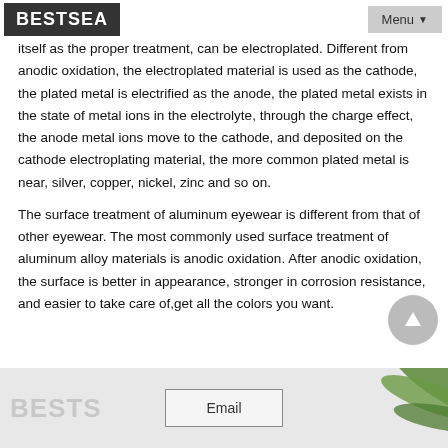BESTSEA | Menu
...itself as the proper treatment, can be electroplated. Different from anodic oxidation, the electroplated material is used as the cathode, the plated metal is electrified as the anode, the plated metal exists in the state of metal ions in the electrolyte, through the charge effect, the anode metal ions move to the cathode, and deposited on the cathode electroplating material, the more common plated metal is near, silver, copper, nickel, zinc and so on.
The surface treatment of aluminum eyewear is different from that of other eyewear. The most commonly used surface treatment of aluminum alloy materials is anodic oxidation. After anodic oxidation, the surface is better in appearance, stronger in corrosion resistance, and easier to take care of,get all the colors you want.
[Figure (logo): BESTSEA logo banner with Email button and palm leaf decoration at the bottom of the page]